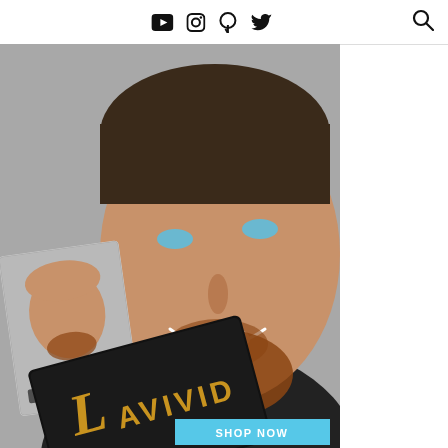Social media icons: YouTube, Instagram, Pinterest, Twitter; Search icon
[Figure (photo): A smiling man with beard and full hair holding a 'BEFORE' photo of himself with less hair, along with a black LAVIVID hair product box. A 'SHOP NOW' button is visible at the bottom.]